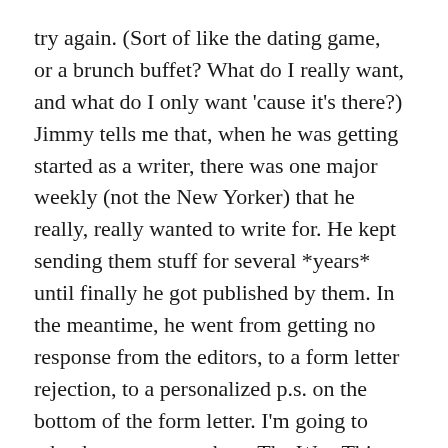try again. (Sort of like the dating game, or a brunch buffet? What do I really want, and what do I only want 'cause it's there?) Jimmy tells me that, when he was getting started as a writer, there was one major weekly (not the New Yorker) that he really, really wanted to write for. He kept sending them stuff for several *years* until finally he got published by them. In the meantime, he went from getting no response from the editors, to a form letter rejection, to a personalized p.s. on the bottom of the form letter. I'm going to take that as a story about The Way Things Are and follow suit.
L, I think I will try to keep my toe in the traditional publishing world (on paper, literary